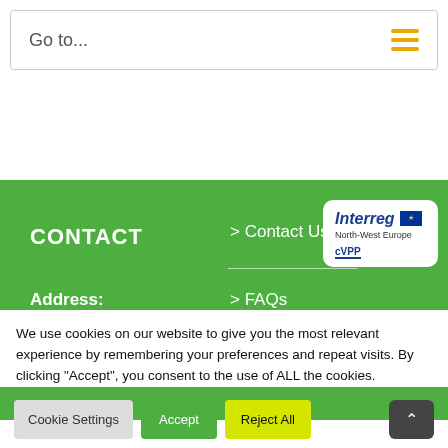Go to...
CONTACT
Address:
2nd Floor
> Contact Us
> FAQs
> Codes of
[Figure (logo): Interreg North-West Europe cVPP logo]
Interreg – Supports Low Carbon Communities and funded by the
We use cookies on our website to give you the most relevant experience by remembering your preferences and repeat visits. By clicking “Accept”, you consent to the use of ALL the cookies.
Cookie Settings  Accept  Reject All